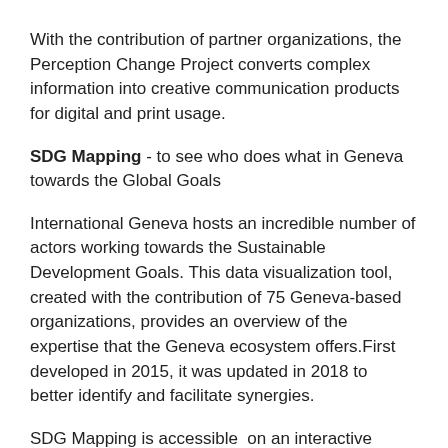With the contribution of partner organizations, the Perception Change Project converts complex information into creative communication products for digital and print usage.
SDG Mapping - to see who does what in Geneva towards the Global Goals
International Geneva hosts an incredible number of actors working towards the Sustainable Development Goals. This data visualization tool, created with the contribution of 75 Geneva-based organizations, provides an overview of the expertise that the Geneva ecosystem offers.First developed in 2015, it was updated in 2018 to better identify and facilitate synergies.
SDG Mapping is accessible on an interactive platform at www.sdgmapping.ch, where you can navigate 10 different areas of expertise for each SDG, and here